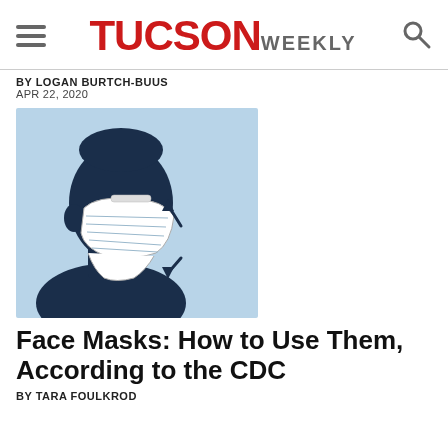TUCSON WEEKLY
BY LOGAN BURTCH-BUUS
APR 22, 2020
[Figure (illustration): Side-profile illustration of a person wearing a face mask, with arrows indicating how to put it on, on a light blue background]
Face Masks: How to Use Them, According to the CDC
BY TARA FOULKROD